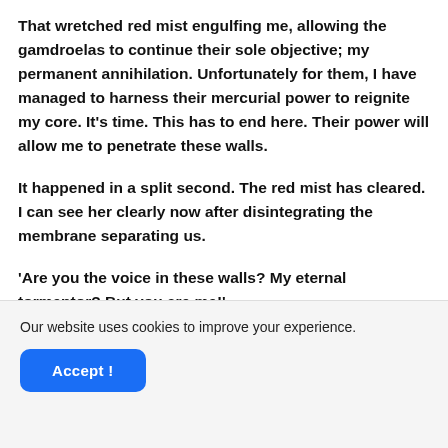That wretched red mist engulfing me, allowing the gamdroelas to continue their sole objective; my permanent annihilation. Unfortunately for them, I have managed to harness their mercurial power to reignite my core. It's time. This has to end here. Their power will allow me to penetrate these walls.
It happened in a split second. The red mist has cleared. I can see her clearly now after disintegrating the membrane separating us.
'Are you the voice in these walls? My eternal tormentor? But you are me!'
Our website uses cookies to improve your experience.
Accept !